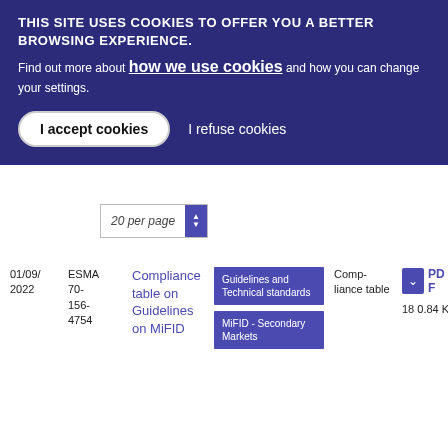THIS SITE USES COOKIES TO OFFER YOU A BETTER BROWSING EXPERIENCE.
Find out more about how we use cookies and how you can change your settings.
I accept cookies
I refuse cookies
20 per page
| Date | Reference | Title | Tags | Type | File |
| --- | --- | --- | --- | --- | --- |
| 01/09/2022 | ESMA 70-156-4754 | Compliance table on Guidelines on MiFID | Guidelines and Technical standards | MiFID - Secondary Markets | Compliance table | PDF 180.84 KB |